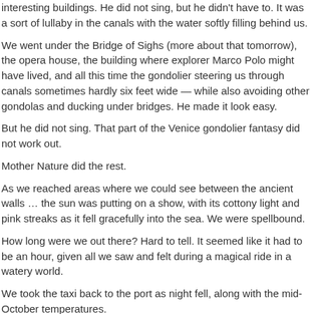interesting buildings. He did not sing, but he didn't have to. It was a sort of lullaby in the canals with the water softly filling behind us.
We went under the Bridge of Sighs (more about that tomorrow), the opera house, the building where explorer Marco Polo might have lived, and all this time the gondolier steering us through canals sometimes hardly six feet wide — while also avoiding other gondolas and ducking under bridges. He made it look easy.
But he did not sing. That part of the Venice gondolier fantasy did not work out.
Mother Nature did the rest.
As we reached areas where we could see between the ancient walls … the sun was putting on a show, with its cottony light and pink streaks as it fell gracefully into the sea. We were spellbound.
How long were we out there? Hard to tell. It seemed like it had to be an hour, given all we saw and felt during a magical ride in a watery world.
We took the taxi back to the port as night fell, along with the mid-October temperatures.
Venice. I had it all wrong. Seeing it as night fell … memorable. It will be hard for anything from the rest of the cruise to measure up.
Tags:
0 RESPONSES SO FAR ↓